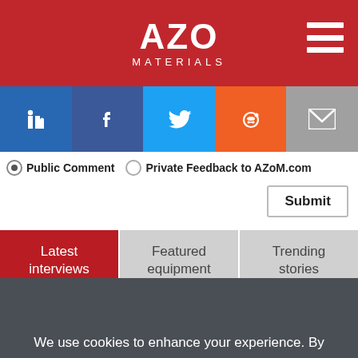[Figure (logo): AZo Materials logo — white text on red background with hamburger menu icon]
[Figure (infographic): Social sharing bar with LinkedIn, Facebook, Twitter, Reddit, and Email icons]
◉ Public Comment  ○ Private Feedback to AZoM.com
Submit
Latest interviews | Featured equipment | Trending stories
A New Era of Polymers with Cambridge Smart Plastics
We use cookies to enhance your experience. By continuing to browse this site you agree to our use of cookies. More info.
✓ Accept   Cookie Settings